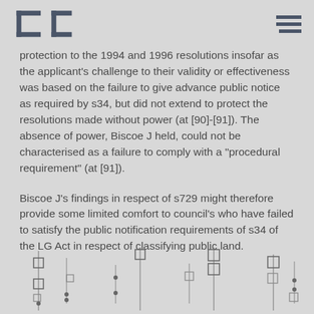LHL logo and navigation
protection to the 1994 and 1996 resolutions insofar as the applicant's challenge to their validity or effectiveness was based on the failure to give advance public notice as required by s34, but did not extend to protect the resolutions made without power (at [90]-[91]). The absence of power, Biscoe J held, could not be characterised as a failure to comply with a "procedural requirement" (at [91]).
Biscoe J's findings in respect of s729 might therefore provide some limited comfort to council's who have failed to satisfy the public notification requirements of s34 of the LG Act in respect of classifying public land.
[Figure (other): Box plot or statistical chart diagram at the bottom of the page, showing vertical lines with square markers at various positions]